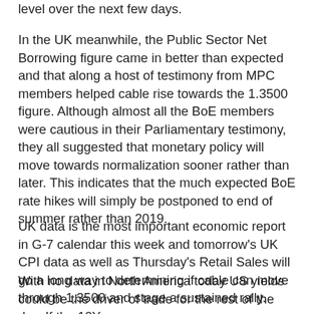level over the next few days.
In the UK meanwhile, the Public Sector Net Borrowing figure came in better than expected and that along a host of testimony from MPC members helped cable rise towards the 1.3500 figure. Although almost all the BoE members were cautious in their Parliamentary testimony, they all suggested that monetary policy will move towards normalization sooner rather than later. This indicates that the much expected BoE rate hikes will simply be postponed to end of summer rather than 2019.
UK data is the most important economic report in G-7 calendar this week and tomorrow's UK CPI data as well as Thursday's Retail Sales will go a long way to determining if cable can move through 1.3500 and stage a sustained rally.
With no data in North America today US yields could be the driver of trade for the rest of the day. If the 10Y can